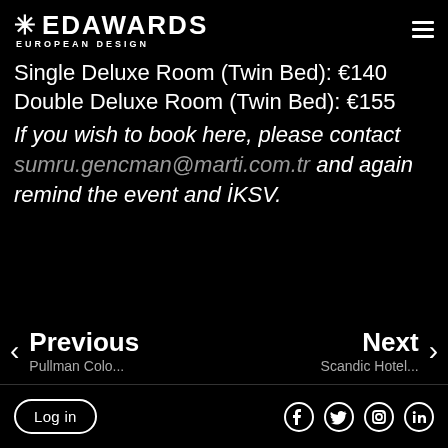* EDAWARDS EUROPEAN DESIGN
Single Deluxe Room (Twin Bed): €140
Double Deluxe Room (Twin Bed): €155
If you wish to book here, please contact sumru.gencman@marti.com.tr and again remind the event and İKSV.
Previous
Pullman Colo...
Next
Scandic Hotel...
Log in | Facebook | Twitter | Instagram | LinkedIn